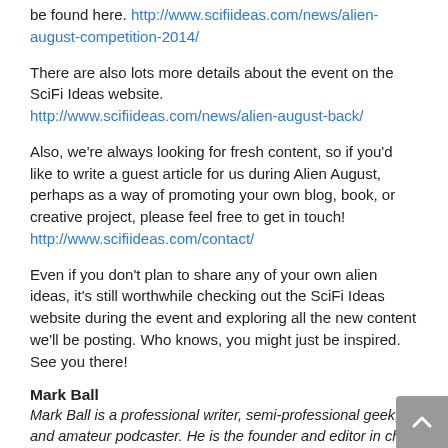be found here. http://www.scifiideas.com/news/alien-august-competition-2014/
There are also lots more details about the event on the SciFi Ideas website.
http://www.scifiideas.com/news/alien-august-back/
Also, we're always looking for fresh content, so if you'd like to write a guest article for us during Alien August, perhaps as a way of promoting your own blog, book, or creative project, please feel free to get in touch!
http://www.scifiideas.com/contact/
Even if you don't plan to share any of your own alien ideas, it's still worthwhile checking out the SciFi Ideas website during the event and exploring all the new content we'll be posting. Who knows, you might just be inspired. See you there!
Mark Ball
Mark Ball is a professional writer, semi-professional geek, and amateur podcaster. He is the founder and editor in chief of scifiideas.com.